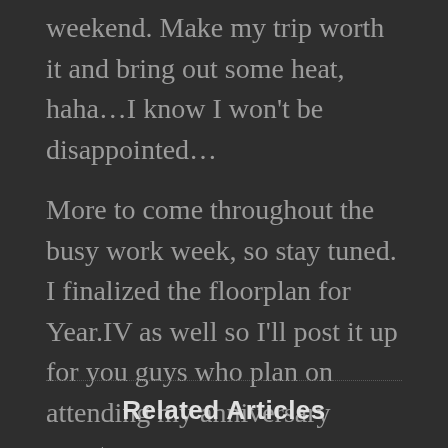weekend. Make my trip worth it and bring out some heat, haha…I know I won't be disappointed…
More to come throughout the busy work week, so stay tuned. I finalized the floorplan for Year.IV as well so I'll post it up for you guys who plan on attending my anniversary event…
Related Articles